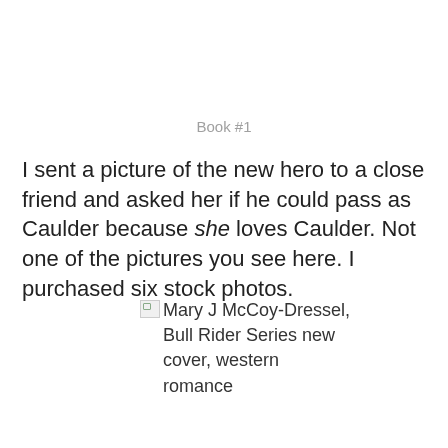Book #1
I sent a picture of the new hero to a close friend and asked her if he could pass as Caulder because she loves Caulder. Not one of the pictures you see here. I purchased six stock photos.
[Figure (other): Broken image placeholder with alt text: Mary J McCoy-Dressel, Bull Rider Series new cover, western romance]